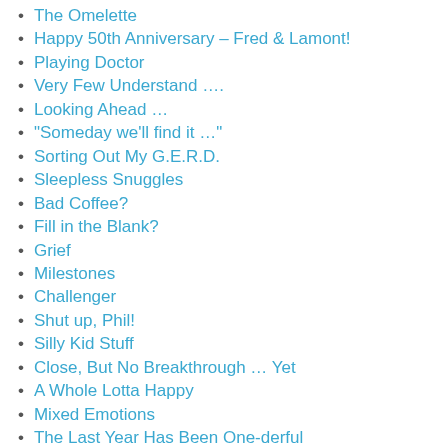The Omelette
Happy 50th Anniversary – Fred & Lamont!
Playing Doctor
Very Few Understand ….
Looking Ahead …
“Someday we’ll find it …”
Sorting Out My G.E.R.D.
Sleepless Snuggles
Bad Coffee?
Fill in the Blank?
Grief
Milestones
Challenger
Shut up, Phil!
Silly Kid Stuff
Close, But No Breakthrough … Yet
A Whole Lotta Happy
Mixed Emotions
The Last Year Has Been One-derful
A Two-riffic Birthday!
That was “interesting” … and uncomfortable!
TV Show Draft – Pick #1 – Police Squad!
Bored in Bed
Ice On, Ice Off